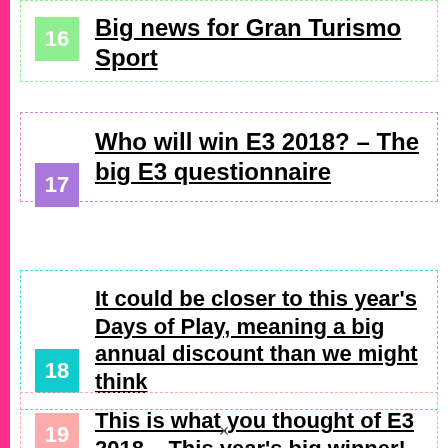16 Big news for Gran Turismo Sport
17 Who will win E3 2018? – The big E3 questionnaire
18 It could be closer to this year's Days of Play, meaning a big annual discount than we might think
19 This is what you thought of E3 2018 – This year's big winner!